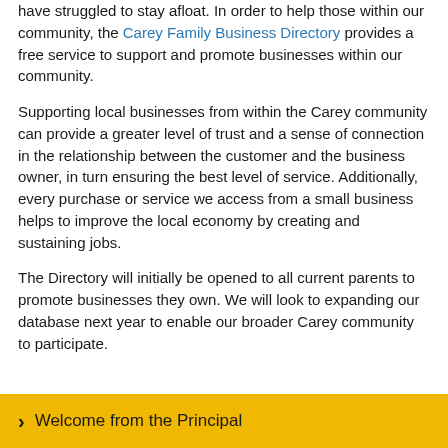have struggled to stay afloat. In order to help those within our community, the Carey Family Business Directory provides a free service to support and promote businesses within our community.
Supporting local businesses from within the Carey community can provide a greater level of trust and a sense of connection in the relationship between the customer and the business owner, in turn ensuring the best level of service. Additionally, every purchase or service we access from a small business helps to improve the local economy by creating and sustaining jobs.
The Directory will initially be opened to all current parents to promote businesses they own. We will look to expanding our database next year to enable our broader Carey community to participate.
Welcome from the Principal